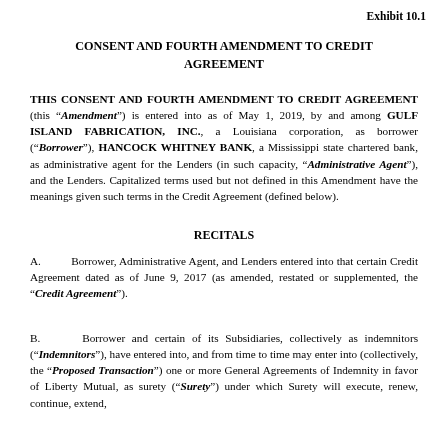Exhibit 10.1
CONSENT AND FOURTH AMENDMENT TO CREDIT AGREEMENT
THIS CONSENT AND FOURTH AMENDMENT TO CREDIT AGREEMENT (this “Amendment”) is entered into as of May 1, 2019, by and among GULF ISLAND FABRICATION, INC., a Louisiana corporation, as borrower (“Borrower”), HANCOCK WHITNEY BANK, a Mississippi state chartered bank, as administrative agent for the Lenders (in such capacity, “Administrative Agent”), and the Lenders. Capitalized terms used but not defined in this Amendment have the meanings given such terms in the Credit Agreement (defined below).
RECITALS
A.	Borrower, Administrative Agent, and Lenders entered into that certain Credit Agreement dated as of June 9, 2017 (as amended, restated or supplemented, the “Credit Agreement”).
B.	Borrower and certain of its Subsidiaries, collectively as indemnitors (“Indemnitors”), have entered into, and from time to time may enter into (collectively, the “Proposed Transaction”) one or more General Agreements of Indemnity in favor of Liberty Mutual, as surety (“Surety”) under which Surety will execute, renew, continue, extend,